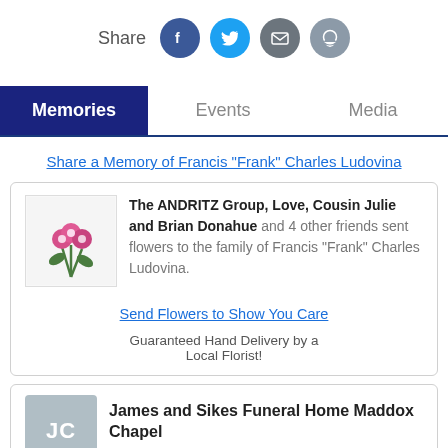Share [Facebook] [Twitter] [Email] [Comment]
Memories | Events | Media
Share a Memory of Francis "Frank" Charles Ludovina
The ANDRITZ Group, Love, Cousin Julie and Brian Donahue and 4 other friends sent flowers to the family of Francis "Frank" Charles Ludovina.
Send Flowers to Show You Care
Guaranteed Hand Delivery by a Local Florist!
James and Sikes Funeral Home Maddox Chapel
2 years ago